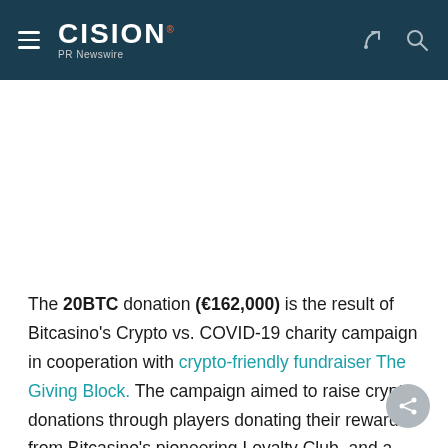CISION PR Newswire
The 20BTC donation (€162,000) is the result of Bitcasino's Crypto vs. COVID-19 charity campaign in cooperation with crypto-friendly fundraiser The Giving Block. The campaign aimed to raise crypto donations through players donating their rewards from Bitcasino's pioneering Loyalty Club, and a sponsored collaborative COVID-19 virtual relief concert with The Giving Block.